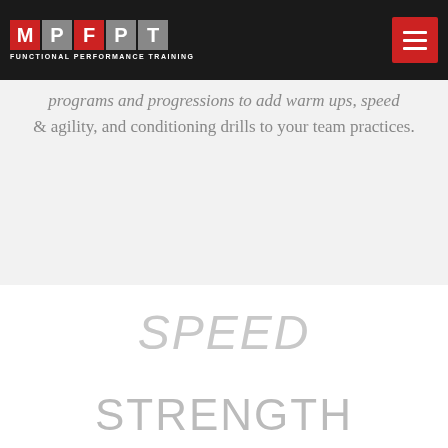[Figure (logo): MPFPT Functional Performance Training logo with red and grey letter boxes on dark background, and hamburger menu button in red]
programs and progressions to add warm ups, speed & agility, and conditioning drills to your team practices.
SPEED
STRENGTH